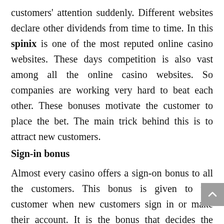customers' attention suddenly. Different websites declare other dividends from time to time. In this spinix is one of the most reputed online casino websites. These days competition is also vast among all the online casino websites. So companies are working very hard to beat each other. These bonuses motivate the customer to place the bet. The main trick behind this is to attract new customers.
Sign-in bonus
Almost every casino offers a sign-on bonus to all the customers. This bonus is given to the customer when new customers sign in or make their account. It is the bonus that decides the upcoming steps of the customer.
Bonus without deposit
With this bonus, customers can play without any deposit